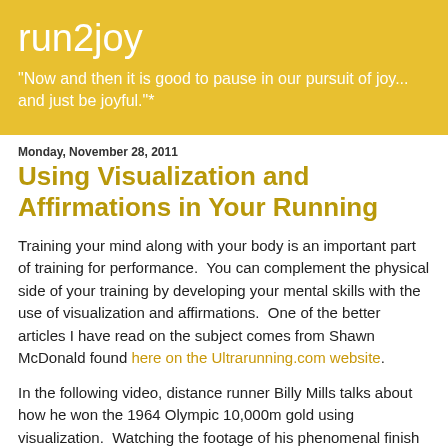run2joy
"Now and then it is good to pause in our pursuit of joy... and just be joyful."*
Monday, November 28, 2011
Using Visualization and Affirmations in Your Running
Training your mind along with your body is an important part of training for performance.  You can complement the physical side of your training by developing your mental skills with the use of visualization and affirmations.  One of the better articles I have read on the subject comes from Shawn McDonald found here on the Ultrarunning.com website.
In the following video, distance runner Billy Mills talks about how he won the 1964 Olympic 10,000m gold using visualization.  Watching the footage of his phenomenal finish